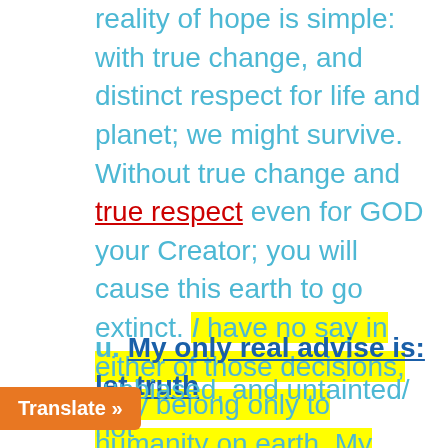reality of hope is simple: with true change, and distinct respect for life and planet; we might survive. Without true change and true respect even for GOD your Creator; you will cause this earth to go extinct. I have no say in either of those decisions, they belong only to humanity on earth. My message is not believe: instead investigate and learn as best you can; what is true. No matter where I got my education, or how I am described: the evidence of pending extinction; stands on its own, as a reality you will not avoid/ or it [will find] u. My only real advise is: let truth [be unbiased, and untainted/ not
Translate »